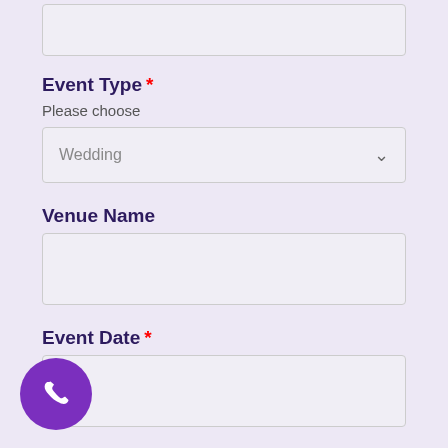(truncated input field at top)
Event Type *
Please choose
Wedding (dropdown)
Venue Name
(empty input field)
Event Date *
(empty input field)
Act Name